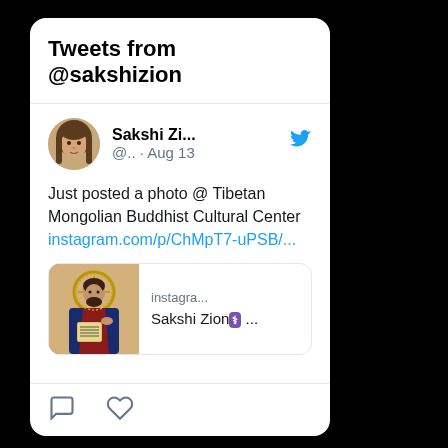Tweets from @sakshizion
Sakshi Zi... @.. · Aug 13
Just posted a photo @ Tibetan Mongolian Buddhist Cultural Center instagram.com/p/ChMpT7-uPSB/...
[Figure (screenshot): Instagram link preview showing an icon image of a figure resembling Jesus holding a book, with text 'instagra... Sakshi Zion 🏥 ...']